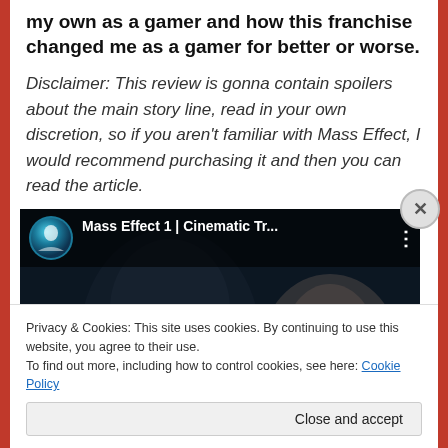my own as a gamer and how this franchise changed me as a gamer for better or worse.
Disclaimer: This review is gonna contain spoilers about the main story line, read in your own discretion, so if you aren't familiar with Mass Effect, I would recommend purchasing it and then you can read the article.
[Figure (screenshot): YouTube video thumbnail for 'Mass Effect 1 | Cinematic Tr...' showing a dark cinematic scene with a character and a woman's face visible, with YouTube play button overlay and channel avatar.]
Privacy & Cookies: This site uses cookies. By continuing to use this website, you agree to their use.
To find out more, including how to control cookies, see here: Cookie Policy
Close and accept